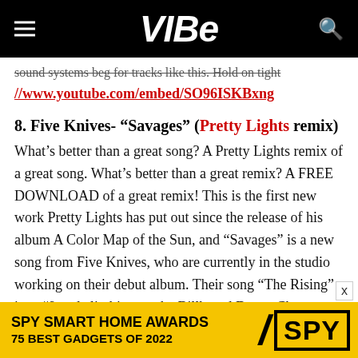VIBE
sound systems beg for tracks like this. Hold on tight
//www.youtube.com/embed/SO96ISKBxng
8. Five Knives- “Savages” (Pretty Lights remix)
What’s better than a great song? A Pretty Lights remix of a great song. What’s better than a great remix? A FREE DOWNLOAD of a great remix! This is the first new work Pretty Lights has put out since the release of his album A Color Map of the Sun, and “Savages” is a new song from Five Knives, who are currently in the studio working on their debut album. Their song “The Rising” is at #9 and climbing on the Billboard Dance Chart. Have a listen, and
[Figure (other): SPY Smart Home Awards advertisement banner: '75 Best Gadgets of 2022' on yellow background with SPY logo]